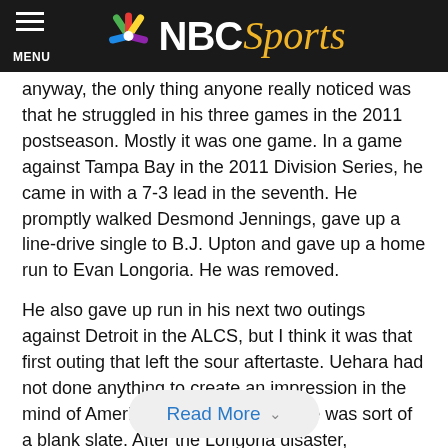NBC Sports
anyway, the only thing anyone really noticed was that he struggled in his three games in the 2011 postseason. Mostly it was one game. In a game against Tampa Bay in the 2011 Division Series, he came in with a 7-3 lead in the seventh. He promptly walked Desmond Jennings, gave up a line-drive single to B.J. Upton and gave up a home run to Evan Longoria. He was removed.
He also gave up run in his next two outings against Detroit in the ALCS, but I think it was that first outing that left the sour aftertaste. Uehara had not done anything to create an impression in the mind of American baseball fans — he was sort of a blank slate. After the Longoria disaster, everyone had their impression. The next year, he came into the wildcard game against Baltimore with the Rangers already down 3-1. He struck out trademate
Read More